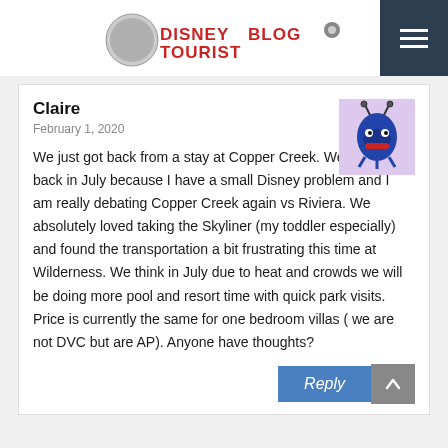DisneyTouristBlog
Claire
February 1, 2020
We just got back from a stay at Copper Creek. We are going back in July because I have a small Disney problem and I am really debating Copper Creek again vs Riviera. We absolutely loved taking the Skyliner (my toddler especially) and found the transportation a bit frustrating this time at Wilderness. We think in July due to heat and crowds we will be doing more pool and resort time with quick park visits. Price is currently the same for one bedroom villas ( we are not DVC but are AP). Anyone have thoughts?
[Figure (illustration): Cartoon avatar of a blue creature/character on a purple/lavender background]
Reply